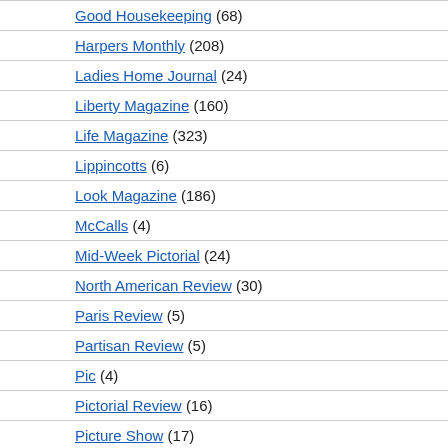Good Housekeeping (68)
Harpers Monthly (208)
Ladies Home Journal (24)
Liberty Magazine (160)
Life Magazine (323)
Lippincotts (6)
Look Magazine (186)
McCalls (4)
Mid-Week Pictorial (24)
North American Review (30)
Paris Review (5)
Partisan Review (5)
Pic (4)
Pictorial Review (16)
Picture Show (17)
Playboy (59)
Poetry Magazine (106)